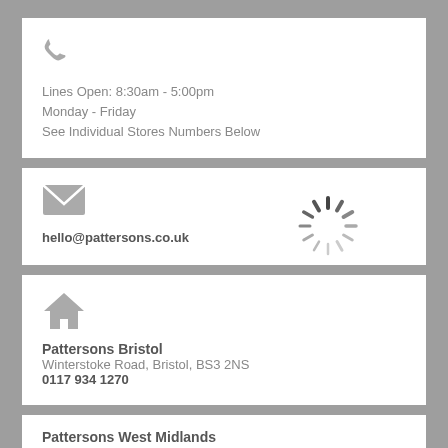[Figure (illustration): Phone handset icon in grey]
Lines Open: 8:30am - 5:00pm
Monday - Friday
See Individual Stores Numbers Below
[Figure (illustration): Envelope/email icon in grey]
hello@pattersons.co.uk
[Figure (illustration): Loading spinner icon in grey]
[Figure (illustration): House/home icon in grey]
Pattersons Bristol
Winterstoke Road, Bristol, BS3 2NS
0117 934 1270
Pattersons West Midlands
Unit 24 Walkers Road, Redditch, B98 9HE
01527 517 161